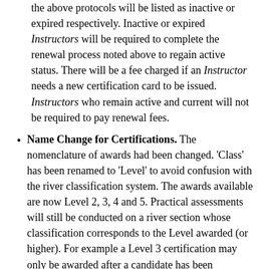the above protocols will be listed as inactive or expired respectively. Inactive or expired Instructors will be required to complete the renewal process noted above to regain active status. There will be a fee charged if an Instructor needs a new certification card to be issued. Instructors who remain active and current will not be required to pay renewal fees.
Name Change for Certifications. The nomenclature of awards had been changed. 'Class' has been renamed to 'Level' to avoid confusion with the river classification system. The awards available are now Level 2, 3, 4 and 5. Practical assessments will still be conducted on a river section whose classification corresponds to the Level awarded (or higher). For example a Level 3 certification may only be awarded after a candidate has been